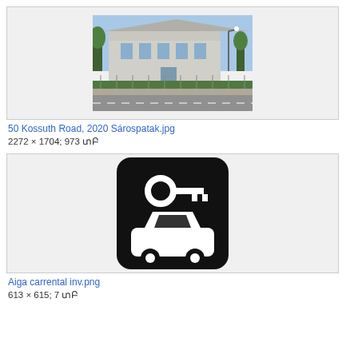[Figure (photo): Photo of a building at 50 Kossuth Road, Sárospatak - a large white classical building seen from the street]
50 Kossuth Road, 2020 Sárospatak.jpg
2272 × 1704; 973 ΚΒ
[Figure (illustration): AIGA car rental icon - black rounded square with white key icon above a white car icon]
Aiga carrental inv.png
613 × 615; 7 ΚΒ